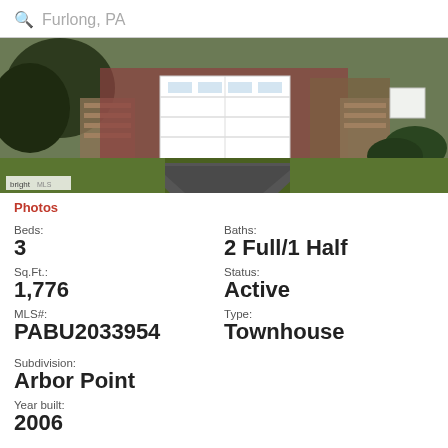Furlong, PA
[Figure (photo): Exterior photo of a brick townhouse with white garage door and driveway, watermarked with 'brightmls' logo in lower left corner.]
Photos
Beds:
3
Baths:
2 Full/1 Half
Sq.Ft.:
1,776
Status:
Active
MLS#:
PABU2033954
Type:
Townhouse
Subdivision:
Arbor Point
Year built:
2006